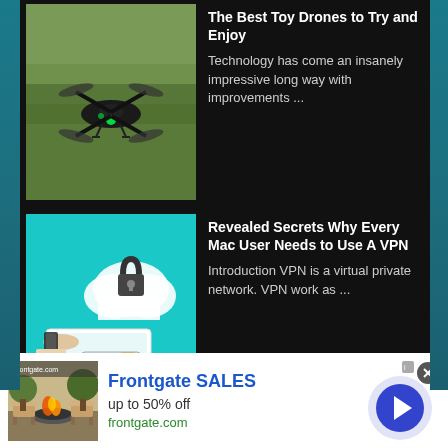[Figure (photo): Toy drone flying over green grass field]
The Best Toy Drones to Try and Enjoy
Technology has come an insanely impressive long way with improvements ...
[Figure (illustration): VPN security illustration showing a computer monitor with credit card and a padlock cloud icon, teal background]
Revealed Secrets Why Every Mac User Needs to Use A VPN
Introduction VPN is a virtual private network. VPN work as ...
[Figure (photo): Outdoor furniture with fire pit advertisement thumbnail]
Frontgate SALES
up to 50% off
frontgate.com